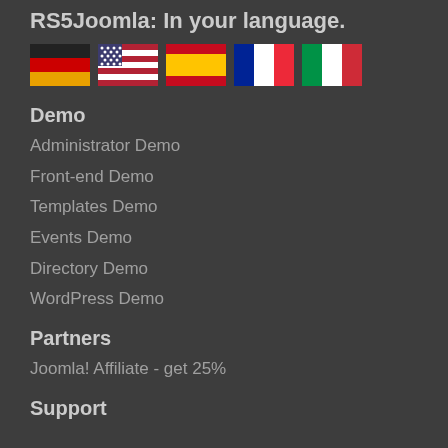RS5Joomla: In your language.
[Figure (illustration): Row of 5 country flags: Germany, USA, Spain, France (partial), Italy (partial)]
Demo
Administrator Demo
Front-end Demo
Templates Demo
Events Demo
Directory Demo
WordPress Demo
Partners
Joomla! Affiliate - get 25%
Support